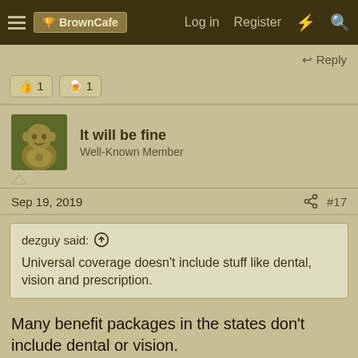BrownCafe  Log in  Register
Reply
👍 1  🍺 1
It will be fine
Well-Known Member
Sep 19, 2019  #17
dezguy said: ⬆
Universal coverage doesn't include stuff like dental, vision and prescription.
Many benefit packages in the states don't include dental or vision.
Reply